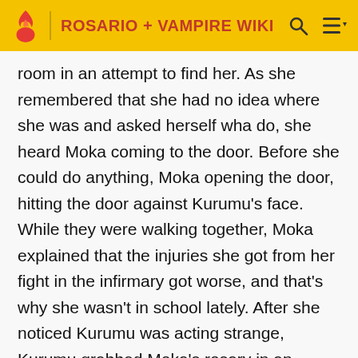ROSARIO + VAMPIRE WIKI
room in an attempt to find her. As she remembered that she had no idea where she was and asked herself wha do, she heard Moka coming to the door. Before she could do anything, Moka opening the door, hitting the door against Kurumu's face. While they were walking together, Moka explained that the injuries she got from her fight in the infirmary got worse, and that's why she wasn't in school lately. After she noticed Kurumu was acting strange, Kurumu grabbed Moka's rosary in an attempt to pull it off. She then realized that she couldn't and that Moka wouldn't be able to defend herself against Kiria. In an attempt to keep her safe, Kurumu demanded that she should just leave so she couldn't hurt Tsukune again. Unable to bear what she had said, believing that she was